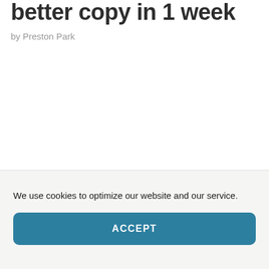better copy in 1 week
by Preston Park
We use cookies to optimize our website and our service.
ACCEPT